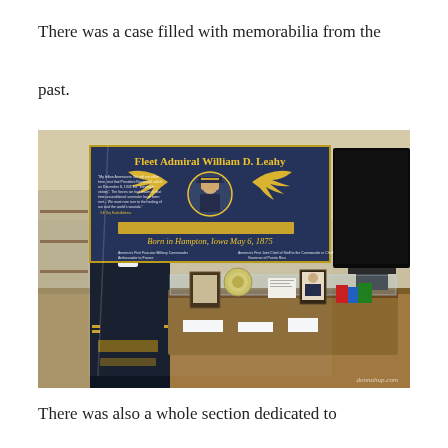There was a case filled with memorabilia from the past.
[Figure (photo): Museum display case showing Fleet Admiral William D. Leahy memorabilia. A large dark blue banner reads 'Fleet Admiral William D. Leahy — Born in Hampton, Iowa May 6, 1875' with a portrait and gold wings. A naval uniform is displayed on the left, and a glass case holds various artifacts including a plate, photographs, documents, and other memorabilia. Watermark reads 'donnahup.com'.]
There was also a whole section dedicated to Hampton's very own Admiral William D. Leahy.